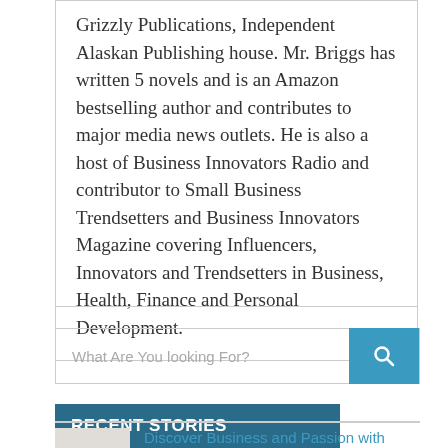Grizzly Publications, Independent Alaskan Publishing house. Mr. Briggs has written 5 novels and is an Amazon bestselling author and contributes to major media news outlets. He is also a host of Business Innovators Radio and contributor to Small Business Trendsetters and Business Innovators Magazine covering Influencers, Innovators and Trendsetters in Business, Health, Finance and Personal Development.
[Figure (other): Search bar with placeholder text 'What Are You looking For?' and a teal search button with magnifying glass icon]
RECENT STORIES
Discover Business and Passion with Master Aesthetician, Spa Owner and Business Coach Lana...